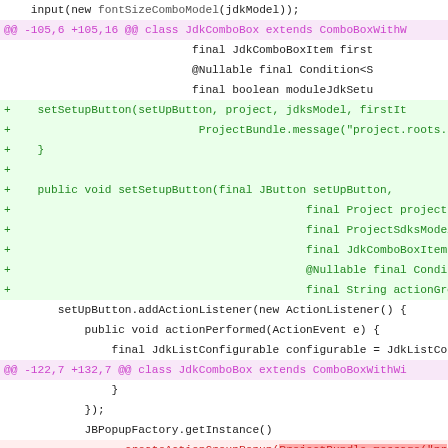[Figure (screenshot): Git diff view of Java source code showing changes to JdkComboBox class. Pink/magenta hunk headers, green added lines, red removed lines, and context lines in black on white background.]